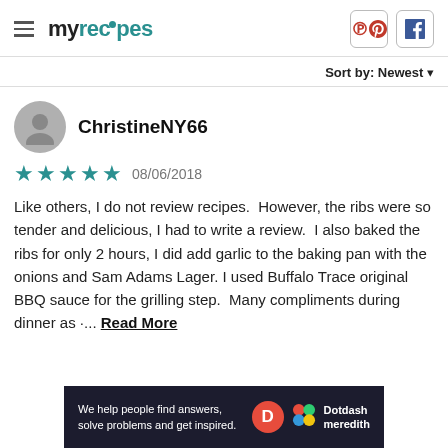myrecipes
Sort by: Newest
ChristineNY66
★★★★★ 08/06/2018
Like others, I do not review recipes.  However, the ribs were so tender and delicious, I had to write a review.  I also baked the ribs for only 2 hours, I did add garlic to the baking pan with the onions and Sam Adams Lager. I used Buffalo Trace original BBQ sauce for the grilling step.  Many compliments during dinner as ·... Read More
[Figure (other): Dotdash Meredith advertisement banner: 'We help people find answers, solve problems and get inspired.']